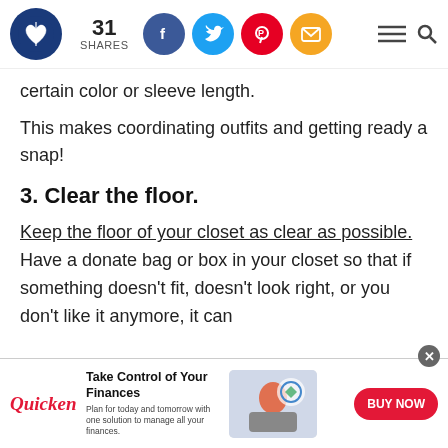31 SHARES — social share bar with Facebook, Twitter, Pinterest, Email icons, menu and search
certain color or sleeve length.
This makes coordinating outfits and getting ready a snap!
3. Clear the floor.
Keep the floor of your closet as clear as possible. Have a donate bag or box in your closet so that if something doesn't fit, doesn't look right, or you don't like it anymore, it can
[Figure (screenshot): Quicken advertisement banner: 'Take Control of Your Finances – Plan for today and tomorrow with one solution to manage all your finances.' with BUY NOW button and woman using laptop image.]